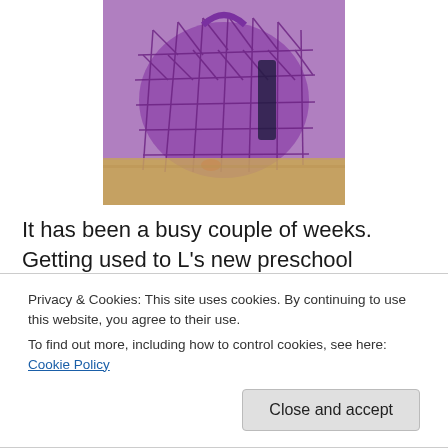[Figure (photo): Close-up photo of a purple crocheted mesh market bag sitting on a sandy surface, showing the open net-like texture of the bag in purple yarn.]
It has been a busy couple of weeks. Getting used to L's new preschool schedule, enjoying time with an extra toddler, and trying to get all those baby sweaters done. Heh. So I did what I've always done when I've got a deadline. Work on something else. So instead of finishing the blue baby sweater for the party on Monday, I crocheted my first bag. The Market Bag from Knit.1 green
Privacy & Cookies: This site uses cookies. By continuing to use this website, you agree to their use.
To find out more, including how to control cookies, see here: Cookie Policy
Close and accept